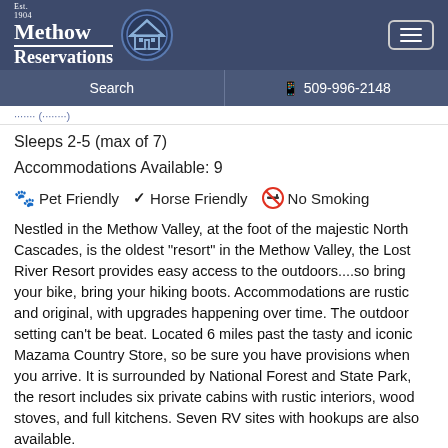[Figure (logo): Methow Reservations logo with house icon in circle on dark navy header]
Search | 509-996-2148
Sleeps 2-5 (max of 7)
Accommodations Available: 9
Pet Friendly  ✔ Horse Friendly  No Smoking
Nestled in the Methow Valley, at the foot of the majestic North Cascades, is the oldest "resort" in the Methow Valley, the Lost River Resort provides easy access to the outdoors....so bring your bike, bring your hiking boots. Accommodations are rustic and original, with upgrades happening over time. The outdoor setting can't be beat. Located 6 miles past the tasty and iconic Mazama Country Store, so be sure you have provisions when you arrive. It is surrounded by National Forest and State Park, the resort includes six private cabins with rustic interiors, wood stoves, and full kitchens. Seven RV sites with hookups are also available.
Hike, bike, snowshoe, or snowmobile right from your door in the